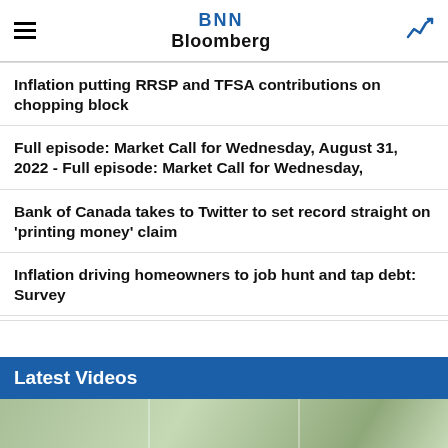BNN Bloomberg
Inflation putting RRSP and TFSA contributions on chopping block
Full episode: Market Call for Wednesday, August 31, 2022 - Full episode: Market Call for Wednesday,
Bank of Canada takes to Twitter to set record straight on 'printing money' claim
Inflation driving homeowners to job hunt and tap debt: Survey
Latest Videos
[Figure (photo): Video thumbnail preview image showing outdoor scene]